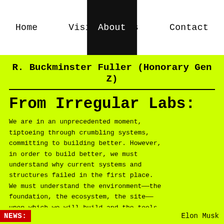Home   Visit   About   Us   Contact
R. Buckminster Fuller (Honorary Gen Z)
From Irregular Labs:
We are in an unprecedented moment, tiptoeing through crumbling systems, committing to building better. However, in order to build better, we must understand why current systems and structures failed in the first place. We must understand the environment——the foundation, the ecosystem, the site——upon which we will build and the tools with which we do so.
NEWS:   Elon Musk